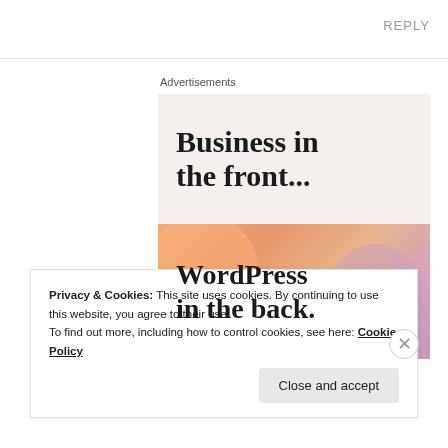REPLY
[Figure (screenshot): Advertisement banner showing 'Business in the front...' text on beige background, followed by 'WordPress in the back.' text on colorful orange/pink gradient background]
Privacy & Cookies: This site uses cookies. By continuing to use this website, you agree to their use. To find out more, including how to control cookies, see here: Cookie Policy
Close and accept